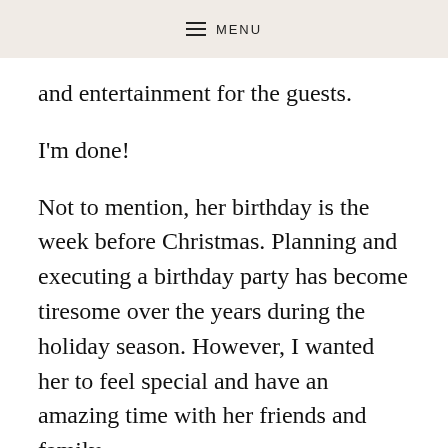≡ MENU
and entertainment for the guests.
I'm done!
Not to mention, her birthday is the week before Christmas. Planning and executing a birthday party has become tiresome over the years during the holiday season. However, I wanted her to feel special and have an amazing time with her friends and family.